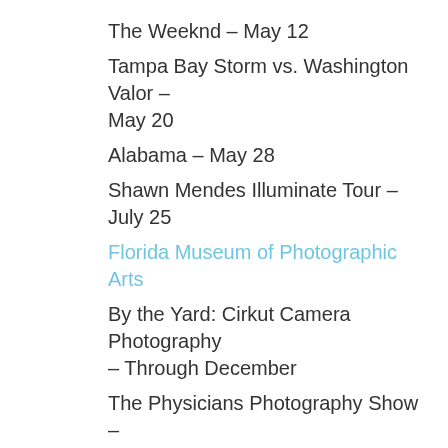The Weeknd – May 12
Tampa Bay Storm vs. Washington Valor – May 20
Alabama – May 28
Shawn Mendes Illuminate Tour – July 25
Florida Museum of Photographic Arts
By the Yard: Cirkut Camera Photography – Through December
The Physicians Photography Show – Begins March 24
The Boomer List, Photographs by Timothy Greenfield-Sanders – April 28 to June 16
Anatomy of the Holy Name Defin…